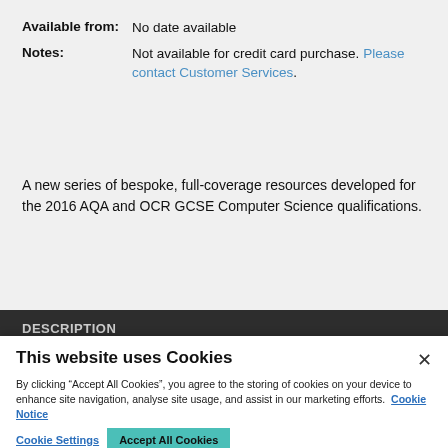Available from: No date available
Notes: Not available for credit card purchase. Please contact Customer Services.
A new series of bespoke, full-coverage resources developed for the 2016 AQA and OCR GCSE Computer Science qualifications.
DESCRIPTION
This website uses Cookies
By clicking “Accept All Cookies”, you agree to the storing of cookies on your device to enhance site navigation, analyse site usage, and assist in our marketing efforts. Cookie Notice
Cookie Settings  Accept All Cookies